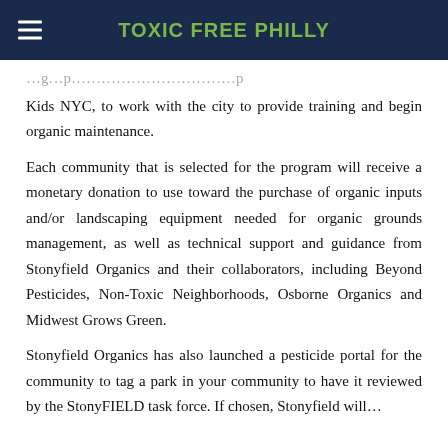TOXIC FREE PHILLY
Kids NYC, to work with the city to provide training and begin organic maintenance.
Each community that is selected for the program will receive a monetary donation to use toward the purchase of organic inputs and/or landscaping equipment needed for organic grounds management, as well as technical support and guidance from Stonyfield Organics and their collaborators, including Beyond Pesticides, Non-Toxic Neighborhoods, Osborne Organics and Midwest Grows Green.
Stonyfield Organics has also launched a pesticide portal for the community to tag a park in your community to have it reviewed by the StonyFIELD task force. If chosen, Stonyfield will…